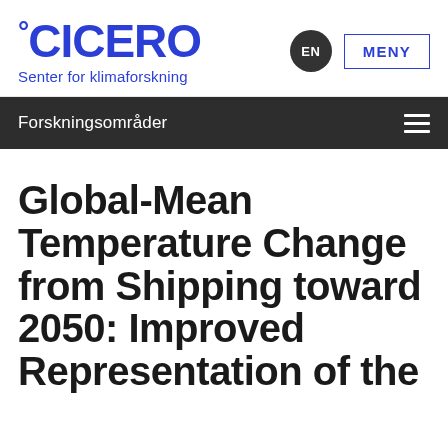°CICERO Senter for klimaforskning
Forskningsområder
Global-Mean Temperature Change from Shipping toward 2050: Improved Representation of the